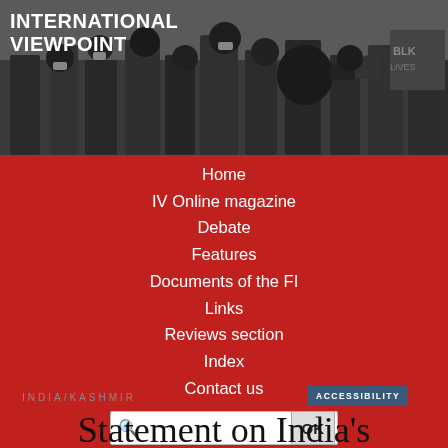[Figure (photo): Crowd of protest demonstrators wearing masks, one person speaking into a megaphone in the foreground]
INTERNATIONAL VIEWPOINT
Home
IV Online magazine
Debate
Features
Documents of the FI
Links
Reviews section
Index
Contact us
INDIA/KASHMIR
Statement on India's